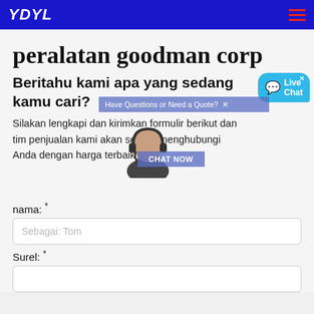YDYL
peralatan goodman corp
Beritahu kami apa yang sedang kamu cari?
Silakan lengkapi dan kirimkan formulir berikut dan tim penjualan kami akan segera menghubungi Anda dengan harga terbaik kami.
[Figure (screenshot): Live chat popup overlay with headset operator image, 'Have Questions or Need a Quote?' banner, 'CHAT NOW' button, and 'Live Chat' bubble icon]
nama: *
Sebagai: Tom
Surel: *